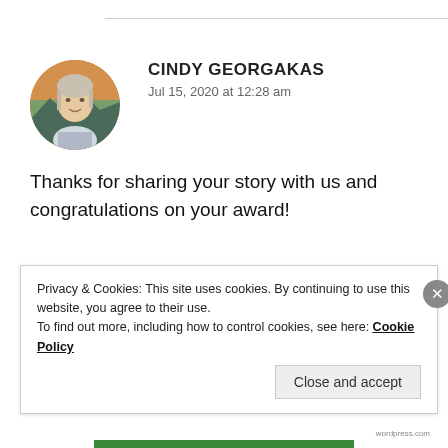CINDY GEORGAKAS
Jul 15, 2020 at 12:28 am
Thanks for sharing your story with us and congratulations on your award!
Privacy & Cookies: This site uses cookies. By continuing to use this website, you agree to their use.
To find out more, including how to control cookies, see here: Cookie Policy
Close and accept